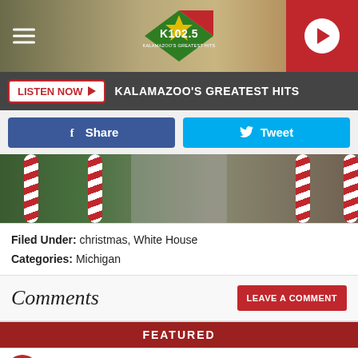[Figure (logo): K102.5 Kalamazoo's Greatest Hits radio station logo with diamond shape in green and red]
LISTEN NOW ▶  KALAMAZOO'S GREATEST HITS
f  Share
🐦  Tweet
[Figure (photo): Outdoor pathway with red and white striped candy cane poles on a green lawn]
Filed Under: christmas, White House
Categories: Michigan
Comments
LEAVE A COMMENT
FEATURED
LT Rush Stone & Fireplace  L.T. Rush Stone Inc  Open